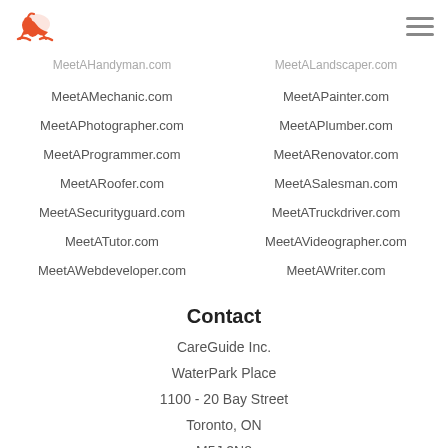Logo and navigation header
MeetAHandyman.com | MeetALandscaper.com
MeetAMechanic.com | MeetAPainter.com
MeetAPhotographer.com | MeetAPlumber.com
MeetAProgrammer.com | MeetARenovator.com
MeetARoofer.com | MeetASalesman.com
MeetASecurityguard.com | MeetATruckdriver.com
MeetATutor.com | MeetAVideographer.com
MeetAWebdeveloper.com | MeetAWriter.com
Contact
CareGuide Inc.
WaterPark Place
1100 - 20 Bay Street
Toronto, ON
M5J 2N8